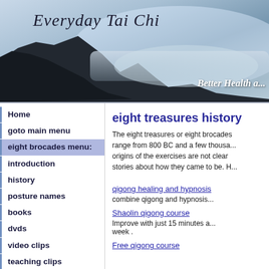[Figure (photo): Website header banner showing mountain silhouette landscape with misty sky. Title 'Everyday Tai Chi' in italic serif font top-left. Tagline 'Better Health a...' bottom-right in white bold italic.]
Home
goto main menu
eight brocades menu:
introduction
history
posture names
books
dvds
video clips
teaching clips
resources
eight treasures history
The eight treasures or eight brocades range from 800 BC and a few thousand... origins of the exercises are not clear stories about how they came to be. H...
qigong healing and hypnosis
combine qigong and hypnosis...
Shaolin qigong course
Improve with just 15 minutes a... week .
Free qigong course